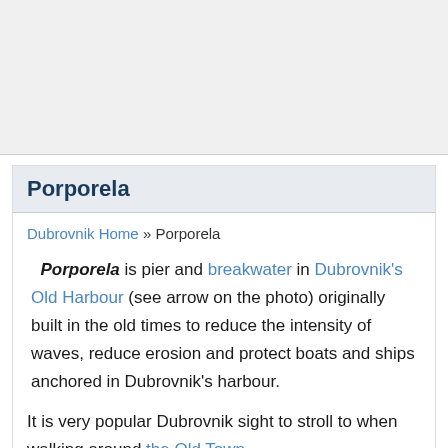[Figure (photo): Top image area, appears to be a photo placeholder or partially visible image]
Porporela
Dubrovnik Home » Porporela
Porporela is pier and breakwater in Dubrovnik's Old Harbour (see arrow on the photo) originally built in the old times to reduce the intensity of waves, reduce erosion and protect boats and ships anchored in Dubrovnik's harbour.
It is very popular Dubrovnik sight to stroll to when walking around the Old Town.